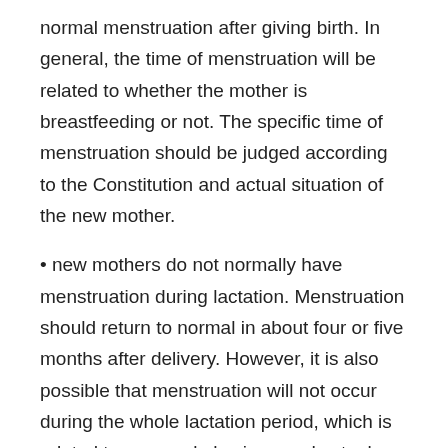normal menstruation after giving birth. In general, the time of menstruation will be related to whether the mother is breastfeeding or not. The specific time of menstruation should be judged according to the Constitution and actual situation of the new mother.
new mothers do not normally have menstruation during lactation. Menstruation should return to normal in about four or five months after delivery. However, it is also possible that menstruation will not occur during the whole lactation period, which is related to personal physique and actual situation.
Post Views: 101